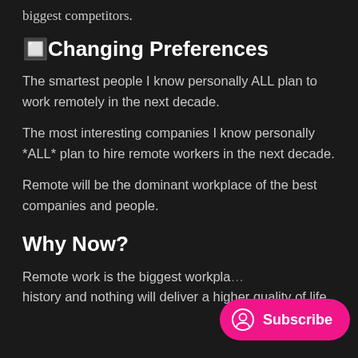biggest competitors.
🔲Changing Preferences
The smartest people I know personally ALL plan to work remotely in the next decade.
The most interesting companies I know personally *ALL* plan to hire remote workers in the next decade.
Remote will be the dominant workplace of the best companies and people.
Why Now?
Remote work is the biggest workpla… history and nothing will deliver a higher quality of life